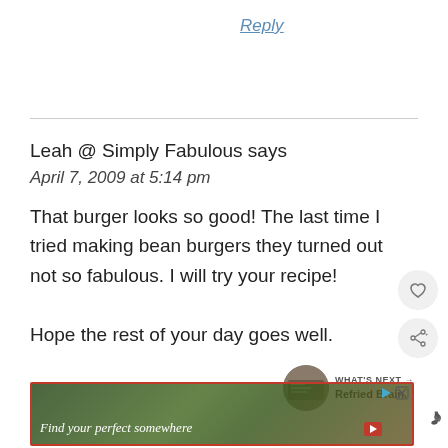Reply
Leah @ Simply Fabulous says
April 7, 2009 at 5:14 pm
That burger looks so good! The last time I tried making bean burgers they turned out not so fabulous. I will try your recipe!

Hope the rest of your day goes well.
[Figure (screenshot): Advertisement banner: 'Find your perfect somewhere' with red border and outdoor/nature background image]